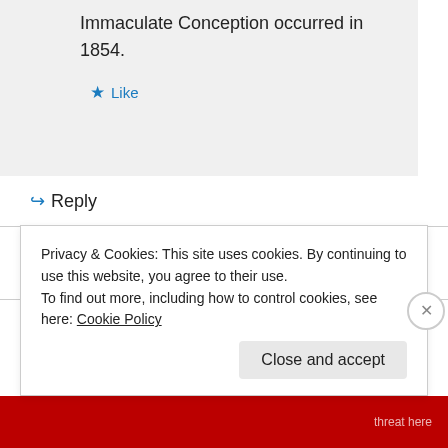Immaculate Conception occurred in 1854.
★ Like
↪ Reply
Pingback: Jesus's father a document of war children – Site Title
Pingback: Jes-ass's Fathers – Site Title
Privacy & Cookies: This site uses cookies. By continuing to use this website, you agree to their use.
To find out more, including how to control cookies, see here: Cookie Policy
Close and accept